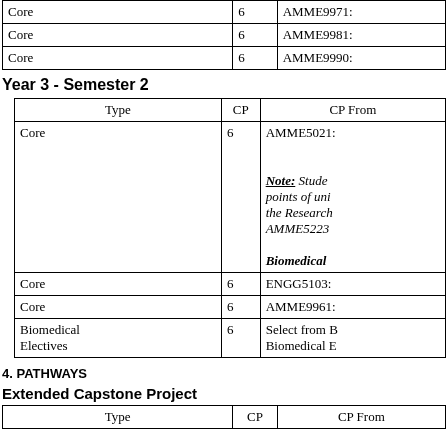| Type | CP | CP From |
| --- | --- | --- |
| Core | 6 | AMME9971: |
| Core | 6 | AMME9981: |
| Core | 6 | AMME9990: |
Year 3 - Semester 2
| Type | CP | CP From |
| --- | --- | --- |
| Core | 6 | AMME5021:

Note: Stude points of uni the Research AMME5223

Biomedical |
| Core | 6 | ENGG5103: |
| Core | 6 | AMME9961: |
| Biomedical Electives | 6 | Select from Biomedical E |
4. PATHWAYS
Extended Capstone Project
| Type | CP | CP From |
| --- | --- | --- |